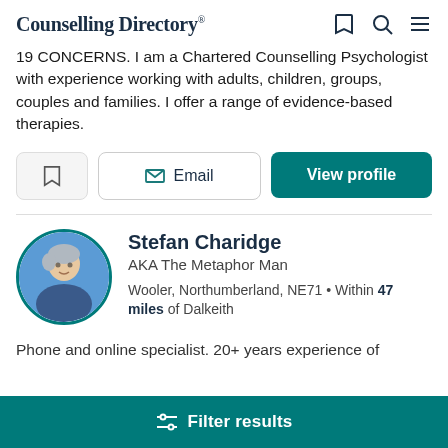Counselling Directory
19 CONCERNS. I am a Chartered Counselling Psychologist with experience working with adults, children, groups, couples and families. I offer a range of evidence-based therapies.
Stefan Charidge
AKA The Metaphor Man
Wooler, Northumberland, NE71 • Within 47 miles of Dalkeith
Phone and online specialist. 20+ years experience of
Filter results